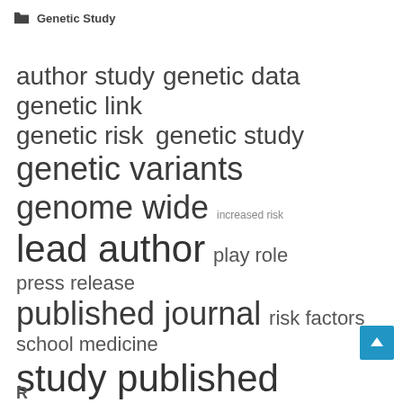Genetic Study
[Figure (infographic): Tag cloud / word cloud for a Genetic Study category. Terms vary in font size indicating frequency/importance. Terms include: author study, genetic data, genetic link, genetic risk, genetic study, genetic variants, genome wide, increased risk, lead author, play role, press release, published journal, risk factors, school medicine, study published, united states, wide association.]
[Figure (other): Blue back-to-top button with upward arrow icon in bottom right corner.]